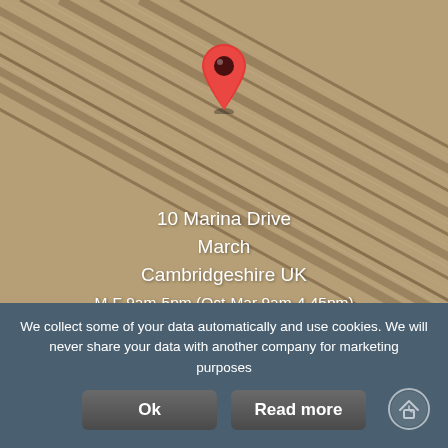[Figure (photo): Diagonal wooden planks background with a red Google Maps-style location pin SVG icon overlaid at the top center]
10 Marina Drive
March
Cambridgeshire UK
M-F 9am-5pm (Oct-Mar 9am-4.45pm)
Sat 9am-4pm (Oct-Mar 9am-3.45pm)
Sun 9am-3pm (Oct-Mar 10am-12pm)
We collect some of your data automatically and use cookies. We will never share your data with another company for marketing purposes
Ok
Read more